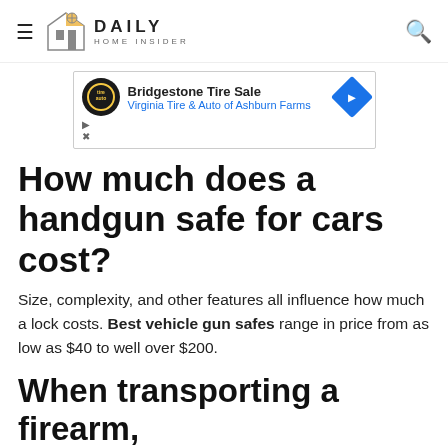Daily Home Insider
[Figure (other): Advertisement: Bridgestone Tire Sale – Virginia Tire & Auto of Ashburn Farms]
How much does a handgun safe for cars cost?
Size, complexity, and other features all influence how much a lock costs. Best vehicle gun safes range in price from as low as $40 to well over $200.
When transporting a firearm,
[Figure (other): Advertisement: Firestone Tire Rebate – Virginia Tire & Auto of Ashburn]